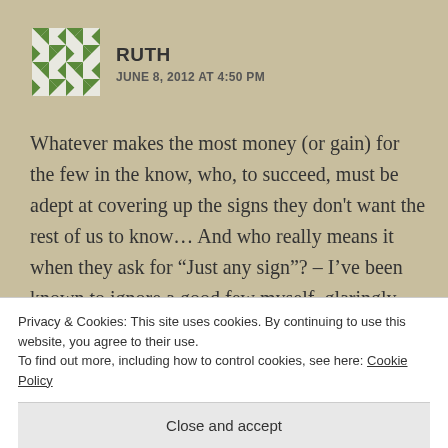[Figure (illustration): Avatar image: green and white geometric/quilt pattern square]
RUTH
JUNE 8, 2012 AT 4:50 PM
Whatever makes the most money (or gain) for the few in the know, who, to succeed, must be adept at covering up the signs they don't want the rest of us to know… And who really means it when they ask for “Just any sign”? – I’ve been known to ignore a good few myself, glaringly obvious in retrospect. 😉
Privacy & Cookies: This site uses cookies. By continuing to use this website, you agree to their use.
To find out more, including how to control cookies, see here: Cookie Policy
Close and accept